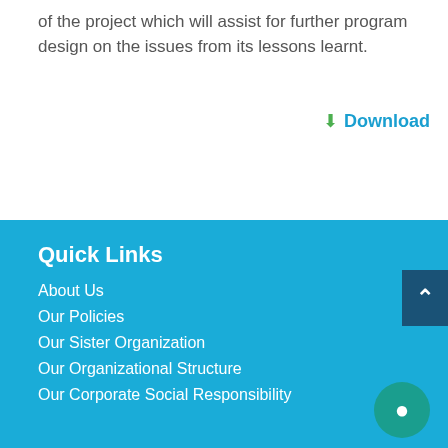of the project which will assist for further program design on the issues from its lessons learnt.
Download
Quick Links
About Us
Our Policies
Our Sister Organization
Our Organizational Structure
Our Corporate Social Responsibility